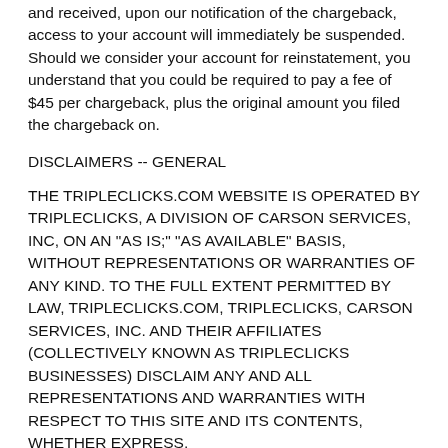and received, upon our notification of the chargeback, access to your account will immediately be suspended. Should we consider your account for reinstatement, you understand that you could be required to pay a fee of $45 per chargeback, plus the original amount you filed the chargeback on.
DISCLAIMERS -- GENERAL
THE TRIPLECLICKS.COM WEBSITE IS OPERATED BY TRIPLECLICKS, A DIVISION OF CARSON SERVICES, INC, ON AN "AS IS;" "AS AVAILABLE" BASIS, WITHOUT REPRESENTATIONS OR WARRANTIES OF ANY KIND. TO THE FULL EXTENT PERMITTED BY LAW, TRIPLECLICKS.COM, TRIPLECLICKS, CARSON SERVICES, INC. AND THEIR AFFILIATES (COLLECTIVELY KNOWN AS TRIPLECLICKS BUSINESSES) DISCLAIM ANY AND ALL REPRESENTATIONS AND WARRANTIES WITH RESPECT TO THIS SITE AND ITS CONTENTS, WHETHER EXPRESS,